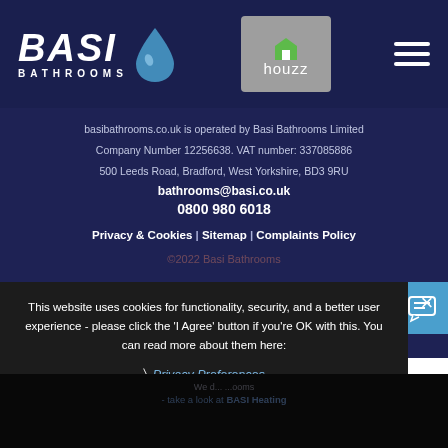[Figure (logo): BASI Bathrooms logo with water drop icon, Houzz badge, and hamburger menu on dark navy header bar]
basibathrooms.co.uk is operated by Basi Bathrooms Limited
Company Number 12256638. VAT number: 337085886
500 Leeds Road, Bradford, West Yorkshire, BD3 9RU
bathrooms@basi.co.uk
0800 980 6018
Privacy & Cookies | Sitemap | Complaints Policy
©2022 Basi Bathrooms
This website uses cookies for functionality, security, and a better user experience - please click the 'I Agree' button if you're OK with this. You can read more about them here:
Privacy Preferences
I Agree